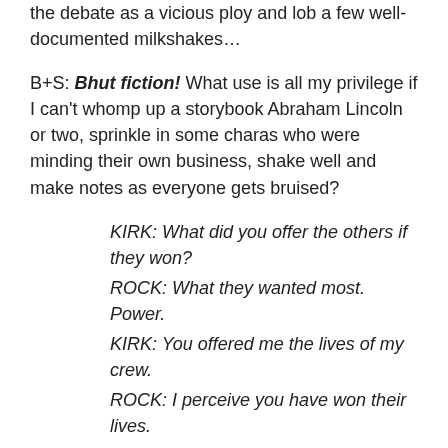the debate as a vicious ploy and lob a few well-documented milkshakes…
B+S: Bhut fiction! What use is all my privilege if I can't whomp up a storybook Abraham Lincoln or two, sprinkle in some charas who were minding their own business, shake well and make notes as everyone gets bruised?
KIRK: What did you offer the others if they won?
ROCK: What they wanted most. Power.
KIRK: You offered me the lives of my crew.
ROCK: I perceive you have won their lives.
KIRK: How many others have you done this to? What gives you the right to hand out life and death?
ROCK: The same right that brought you here. The need to know new things.
KIRK: We came in peace.
ROCK: (partial, cut off)